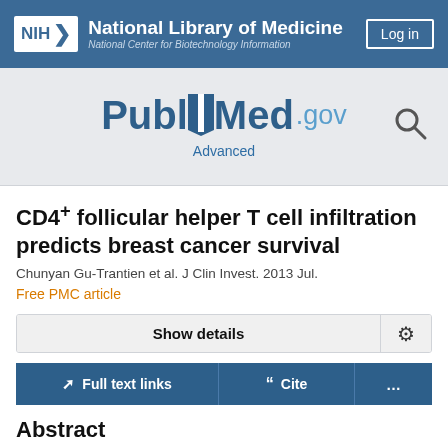NIH National Library of Medicine National Center for Biotechnology Information
[Figure (logo): PubMed.gov logo with Advanced search link]
CD4+ follicular helper T cell infiltration predicts breast cancer survival
Chunyan Gu-Trantien et al. J Clin Invest. 2013 Jul.
Free PMC article
Show details
Full text links
Cite
...
Abstract